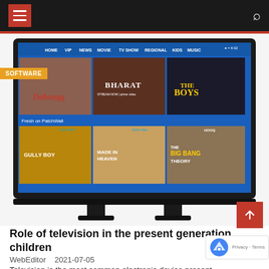Navigation bar with hamburger menu and search icon
[Figure (screenshot): A smart TV screen showing a streaming interface (PatchWall) with navigation menu items: HOME, VIP, NEWS, MOVIE, TV SHOW, REGIONAL, KIDS, MUSIC. Featured movies/shows include Dabbang, BHARAT (Stream Now on Prime Video), THE BOYS, and a 'Fresh on PatchWall' section showing GULLY BOY, MADE IN HEAVEN, and THE BIG BANG THEORY (HOOQ). The TV is a flat-screen with two stand legs.]
Role of television in the present generation children
WebEditor   2021-07-05
Television is the most common electronic device present